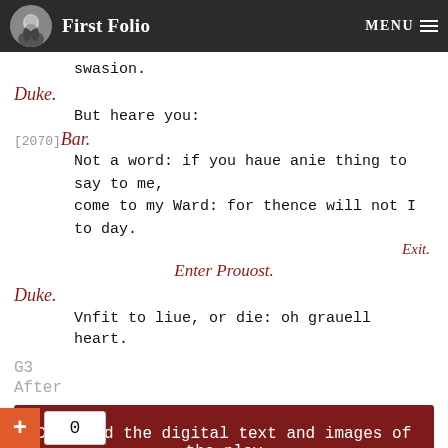First Folio  MENU
swasion.
Duke.
But heare you:
[2070] Bar.
Not a word: if you haue anie thing to say to me, come to my Ward: for thence will not I to day.
Exit.
Enter Prouost.
Duke.
Vnfit to liue, or die: oh grauell heart.
G3
After
Download the digital text and images of the play
+ 0